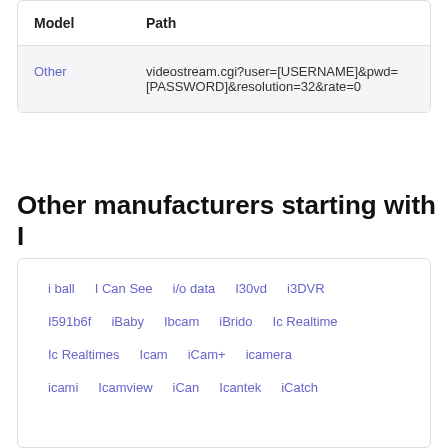| Model | Path |
| --- | --- |
| Other | videostream.cgi?user=[USERNAME]&pwd=[PASSWORD]&resolution=32&rate=0 |
Other manufacturers starting with I
i ball
I Can See
i/o data
I30vd
i3DVR
I591b6f
iBaby
Ibcam
iBrido
Ic Realtime
Ic Realtimes
Icam
iCam+
icamera
icami
Icamview
iCan
Icantek
iCatch